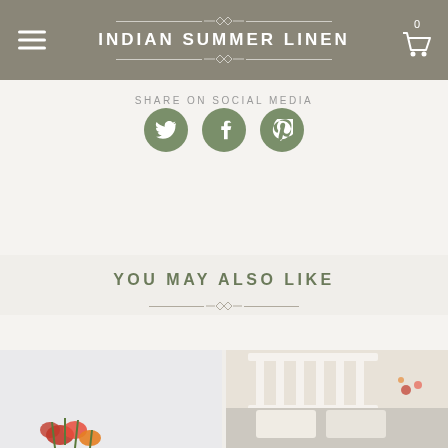INDIAN SUMMER LINEN
SHARE ON SOCIAL MEDIA
[Figure (illustration): Three green circular social media icons: Twitter, Facebook, Pinterest]
YOU MAY ALSO LIKE
[Figure (photo): Left product photo: light gray background with colorful poppy flowers at bottom]
[Figure (photo): Right product photo: white bed headboard with pillows and colorful flowers decoration]